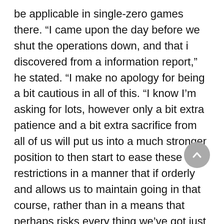be applicable in single-zero games there. “I came upon the day before we shut the operations down, and that i discovered from a information report,” he stated. “I make no apology for being a bit cautious in all of this. “I know I’m asking for lots, however only a bit extra patience and a bit extra sacrifice from all of us will put us into a much stronger position to then start to ease these restrictions in a manner that if orderly and allows us to maintain going in that course, rather than in a means that perhaps risks every thing we’ve got just achieved.
Related posts:
1. Caesars Casino Free Slot Machine Games
2. Snoqualmie Casino Crescent Club